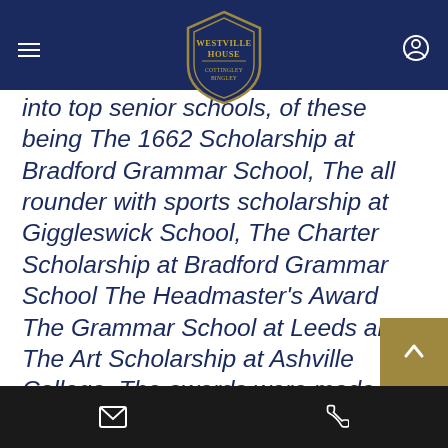Westville House — navigation header with logo shield
into top senior schools, of these being The 1662 Scholarship at Bradford Grammar School, The all rounder with sports scholarship at Giggleswick School, The Charter Scholarship at Bradford Grammar School The Headmaster's Award The Grammar School at Leeds and The Art Scholarship at Ashville College. The awards were made for a wide range of disciplines including academics, music, sport, drama and all-round ability.

It is the combination of our inclusive approach, rich and broad curriculum and energetic
Email and phone contact icons